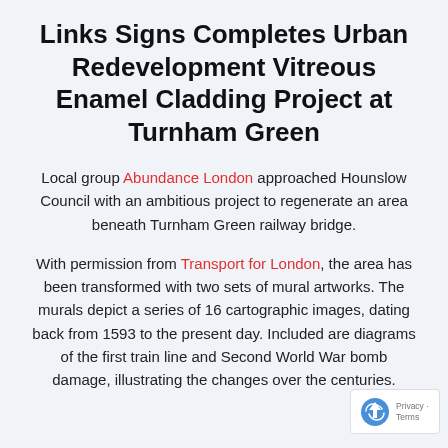Links Signs Completes Urban Redevelopment Vitreous Enamel Cladding Project at Turnham Green
Local group Abundance London approached Hounslow Council with an ambitious project to regenerate an area beneath Turnham Green railway bridge.
With permission from Transport for London, the area has been transformed with two sets of mural artworks. The murals depict a series of 16 cartographic images, dating back from 1593 to the present day. Included are diagrams of the first train line and Second World War bomb damage, illustrating the changes over the centuries.